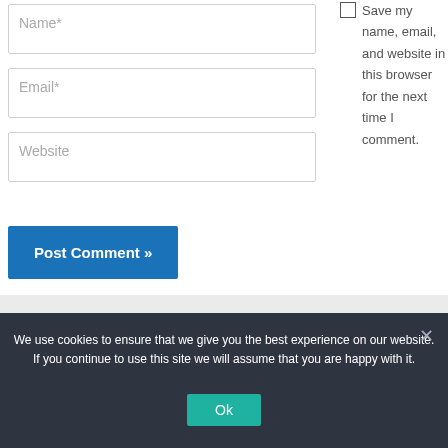Name*
Email*
Website
Post Comment »
Save my name, email, and website in this browser for the next time I comment.
We use cookies to ensure that we give you the best experience on our website. If you continue to use this site we will assume that you are happy with it.
Ok